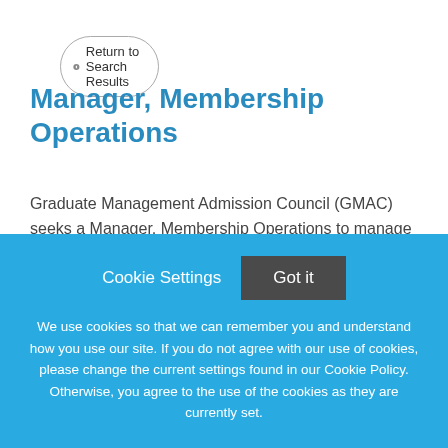Return to Search Results
Manager, Membership Operations
Graduate Management Admission Council (GMAC) seeks a Manager, Membership Operations to manage and drive the activities central to the Membership team, including governance of the GMAC Membership Policy and
Cookie Settings   Got it
We use cookies so that we can remember you and understand how you use our site. If you do not agree with our use of cookies, please change the current settings found in our Cookie Policy. Otherwise, you agree to the use of the cookies as they are currently set.